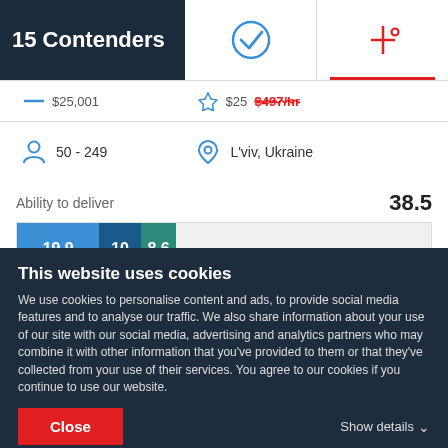15 Contenders
| — | $25,001 | ☆ | $25  $497/hr |
| 👤 | 50 - 249 | 📍 | L'viv, Ukraine |
Ability to deliver  38.5
[Figure (stacked-bar-chart): Ability to deliver bar]
Reviews
This website uses cookies
We use cookies to personalise content and ads, to provide social media features and to analyse our traffic. We also share information about your use of our site with our social media, advertising and analytics partners who may combine it with other information that you've provided to them or that they've collected from your use of their services. You agree to our cookies if you continue to use our website.
Close
Show details